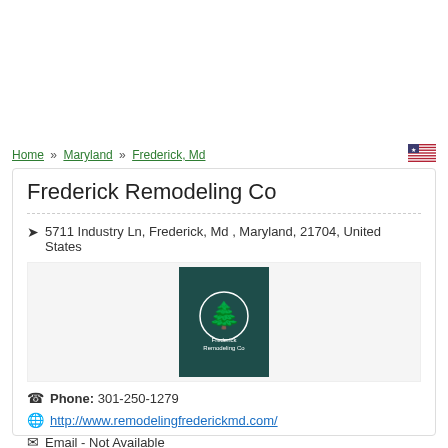Home » Maryland » Frederick, Md
Frederick Remodeling Co
5711 Industry Ln, Frederick, Md , Maryland, 21704, United States
[Figure (logo): Frederick Remodeling Co logo — dark teal background with white tree icon in a circle and company name below]
Phone: 301-250-1279
http://www.remodelingfrederickmd.com/
Email - Not Available